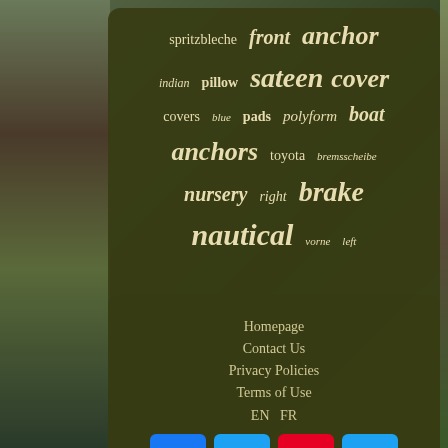[Figure (other): Tag cloud on dark olive-green rounded rectangle background showing various keywords in different sizes: spritzbleche, front, anchor, indian, pillow, sateen, cover, covers, blue, pads, polyform, boat, anchors, toyota, bremsscheibe, nursery, right, brake, nautical, vorne, left]
Homepage
Contact Us
Privacy Policies
Terms of Use
EN  FR
[Figure (other): Social media icons: Facebook (blue), Twitter (light blue), Pinterest (red), Email/envelope (light blue)]